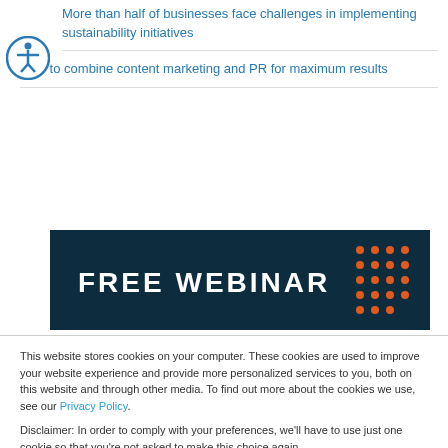More than half of businesses face challenges in implementing sustainability initiatives
How to combine content marketing and PR for maximum results
[Figure (infographic): Dark navy banner with 'FREE WEBINAR' text in white bold letters and orange dot pattern on the right side]
This website stores cookies on your computer. These cookies are used to improve your website experience and provide more personalized services to you, both on this website and through other media. To find out more about the cookies we use, see our Privacy Policy.
Disclaimer: In order to comply with your preferences, we'll have to use just one cookie so that you're not asked to make this choice again.